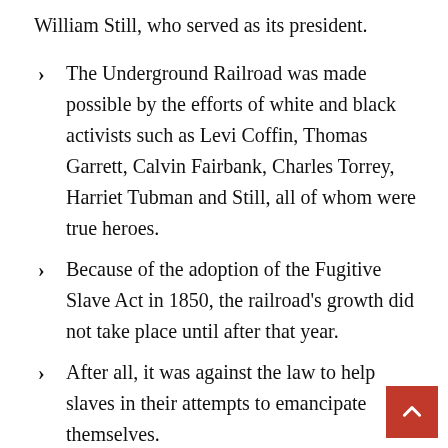William Still, who served as its president.
The Underground Railroad was made possible by the efforts of white and black activists such as Levi Coffin, Thomas Garrett, Calvin Fairbank, Charles Torrey, Harriet Tubman and Still, all of whom were true heroes.
Because of the adoption of the Fugitive Slave Act in 1850, the railroad’s growth did not take place until after that year.
After all, it was against the law to help slaves in their attempts to emancipate themselves.
Being an abolitionist or a conductor on the Underground Railroad, according to